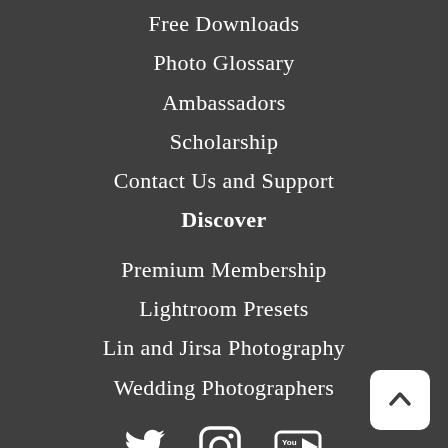Free Downloads
Photo Glossary
Ambassadors
Scholarship
Contact Us and Support
Discover
Premium Membership
Lightroom Presets
Lin and Jirsa Photography
Wedding Photographers
[Figure (infographic): Three social media icons: Twitter bird, Instagram camera, YouTube play button]
[Figure (other): Back to top button with upward caret arrow, white rounded rectangle]